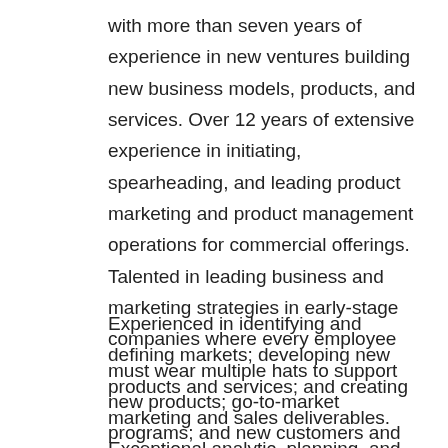with more than seven years of experience in new ventures building new business models, products, and services. Over 12 years of extensive experience in initiating, spearheading, and leading product marketing and product management operations for commercial offerings. Talented in leading business and marketing strategies in early-stage companies where every employee must wear multiple hats to support new products; go-to-market programs; and new customers and channel partners.
Experienced in identifying and defining markets; developing new products and services; and creating marketing and sales deliverables. Exceptional analytic, planning, and organization skills with